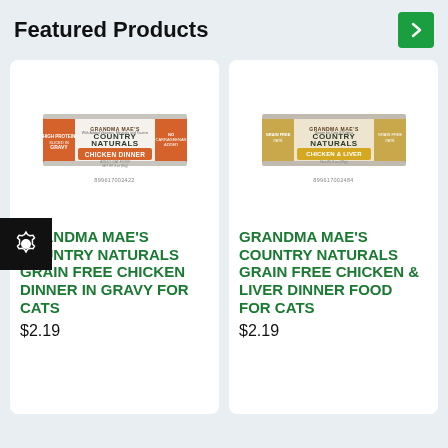Featured Products
[Figure (photo): Product card 1: Grandma Mae's Country Naturals Grain Free Chicken Dinner in Gravy for Cats cat food can. Barcode: 899617002422]
GRANDMA MAE'S COUNTRY NATURALS GRAIN FREE CHICKEN DINNER IN GRAVY FOR CATS
$2.19
[Figure (photo): Product card 2: Grandma Mae's Country Naturals Grain Free Chicken & Liver Dinner Food for Cats cat food can. Barcode: 899617002484]
GRANDMA MAE'S COUNTRY NATURALS GRAIN FREE CHICKEN & LIVER DINNER FOOD FOR CATS
$2.19